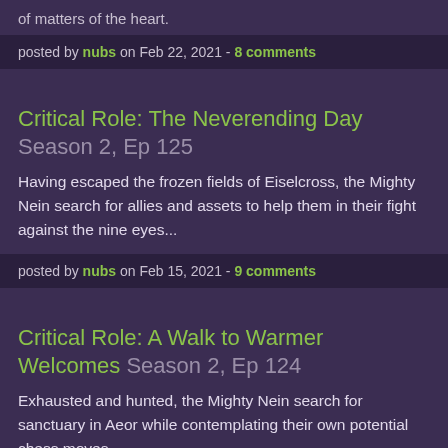of matters of the heart.
posted by nubs on Feb 22, 2021 - 8 comments
Critical Role: The Neverending Day Season 2, Ep 125
Having escaped the frozen fields of Eiselcross, the Mighty Nein search for allies and assets to help them in their fight against the nine eyes...
posted by nubs on Feb 15, 2021 - 9 comments
Critical Role: A Walk to Warmer Welcomes Season 2, Ep 124
Exhausted and hunted, the Mighty Nein search for sanctuary in Aeor while contemplating their own potential chess moves...